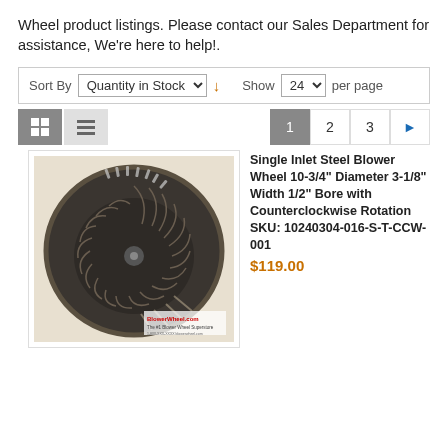Wheel product listings. Please contact our Sales Department for assistance, We're here to help!.
Sort By  Quantity in Stock  ↓   Show  24  per page
[Figure (screenshot): Pagination and view toggle bar with grid/list icons and page numbers 1, 2, 3 and next arrow]
[Figure (photo): Single Inlet Steel Blower Wheel product photo showing a dark metal centrifugal blower wheel with curved blades, viewed from the front with a blowerwheel.com watermark]
Single Inlet Steel Blower Wheel 10-3/4" Diameter 3-1/8" Width 1/2" Bore with Counterclockwise Rotation SKU: 10240304-016-S-T-CCW-001
$119.00